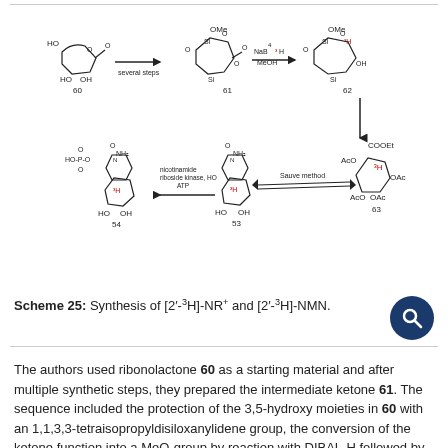[Figure (schematic): Scheme 25 showing the synthesis of [2'-3H]-NR+ and [2'-3H]-NMN. Chemical structures 60, 61, 62, 63, 53, 54 with reaction arrows indicating several steps, NaBH4/MeOH reduction, nicotinamide riboside kinase/ATP phosphorylation, and Sauve method.]
Scheme 25: Synthesis of [2'-3H]-NR+ and [2'-3H]-NMN.
The authors used ribonolactone 60 as a starting material and after multiple synthetic steps, they prepared the intermediate ketone 61. The sequence included the protection of the 3,5-hydroxy moieties in 60 with an 1,1,3,3-tetraisopropyldisiloxanylidene group, the conversion of the ketone function into a MeO-group by reaction with DIBAL-H followed by quenching with methanol. This was followed by